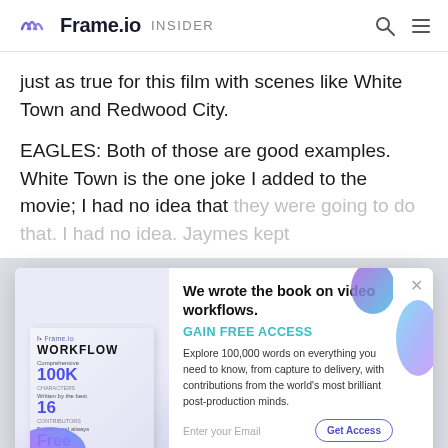Frame.io INSIDER
just as true for this film with scenes like White Town and Redwood City.
EAGLES: Both of those are good examples. White Town is the one joke I added to the movie; I had no idea that they were going to do that. I had no idea. Jaymes kept
[Figure (screenshot): Modal popup advertising Frame.io Workflow book. Left side shows a book cover with title WORKFLOW, stats 100K words, 16 contributors, Free. Right side has headline 'We wrote the book on video workflows.', 'GAIN FREE ACCESS' link, description text, and email signup form with Get Access button.]